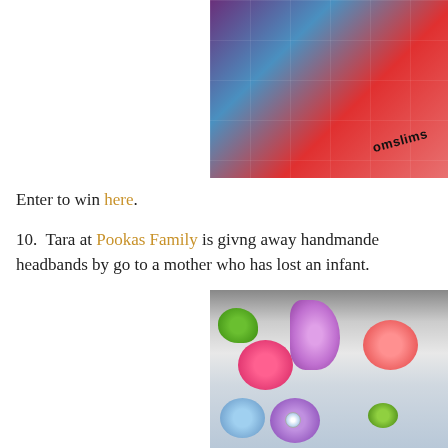[Figure (photo): Close-up photo of colorful athletic socks (purple, blue, red) with 'smslims' text visible, on a tiled background]
Enter to win here.
10.  Tara at Pookas Family is givng away handmande headbands by go to a mother who has lost an infant.
[Figure (photo): Close-up photo of colorful handmade headbands with flowers (green, pink, purple feathers, coral, blue, purple rosette) and gemstone decorations on a dark patterned background]